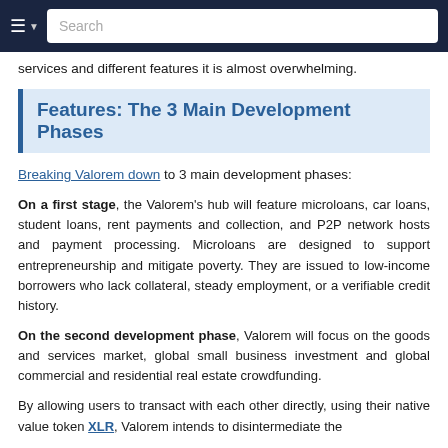Search
services and different features it is almost overwhelming.
Features: The 3 Main Development Phases
Breaking Valorem down to 3 main development phases:
On a first stage, the Valorem's hub will feature microloans, car loans, student loans, rent payments and collection, and P2P network hosts and payment processing. Microloans are designed to support entrepreneurship and mitigate poverty. They are issued to low-income borrowers who lack collateral, steady employment, or a verifiable credit history.
On the second development phase, Valorem will focus on the goods and services market, global small business investment and global commercial and residential real estate crowdfunding.
By allowing users to transact with each other directly, using their native value token XLR, Valorem intends to disintermediate the